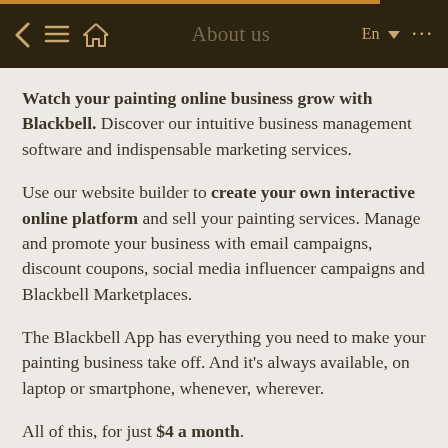About us
Watch your painting online business grow with Blackbell. Discover our intuitive business management software and indispensable marketing services.
Use our website builder to create your own interactive online platform and sell your painting services. Manage and promote your business with email campaigns, discount coupons, social media influencer campaigns and Blackbell Marketplaces.
The Blackbell App has everything you need to make your painting business take off. And it's always available, on laptop or smartphone, whenever, wherever.
All of this, for just $4 a month.